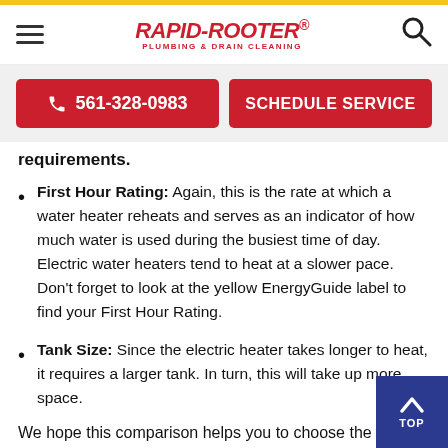Rapid-Rooter Plumbing & Drain Cleaning
561-328-0983   SCHEDULE SERVICE
requirements.
First Hour Rating: Again, this is the rate at which a water heater reheats and serves as an indicator of how much water is used during the busiest time of day. Electric water heaters tend to heat at a slower pace. Don't forget to look at the yellow EnergyGuide label to find your First Hour Rating.
Tank Size: Since the electric heater takes longer to heat, it requires a larger tank. In turn, this will take up more space.
We hope this comparison helps you to choose the b…